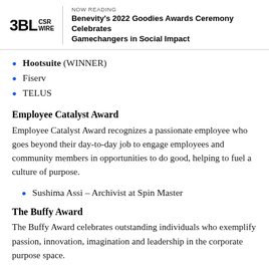NOW READING
Benevity's 2022 Goodies Awards Ceremony Celebrates Gamechangers in Social Impact
Hootsuite (WINNER)
Fiserv
TELUS
Employee Catalyst Award
Employee Catalyst Award recognizes a passionate employee who goes beyond their day-to-day job to engage employees and community members in opportunities to do good, helping to fuel a culture of purpose.
Sushima Assi – Archivist at Spin Master
The Buffy Award
The Buffy Award celebrates outstanding individuals who exemplify passion, innovation, imagination and leadership in the corporate purpose space.